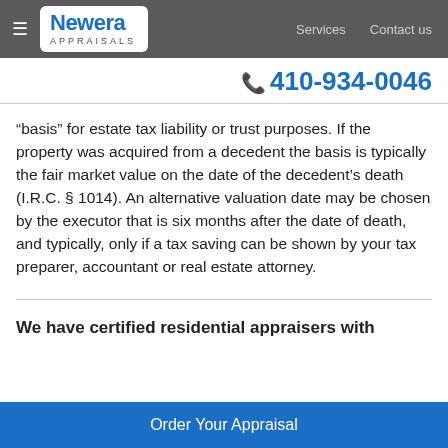Newera Appraisals | Services | Contact us | 410-934-0046
“basis” for estate tax liability or trust purposes. If the property was acquired from a decedent the basis is typically the fair market value on the date of the decedent’s death (I.R.C. § 1014). An alternative valuation date may be chosen by the executor that is six months after the date of death, and typically, only if a tax saving can be shown by your tax preparer, accountant or real estate attorney.
We have certified residential appraisers with
Order Your Appraisal